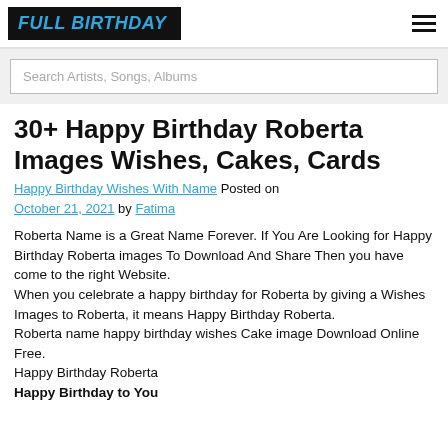FULL BIRTHDAY
Search Artists, Songs, Albums
30+ Happy Birthday Roberta Images Wishes, Cakes, Cards
Happy Birthday Wishes With Name Posted on October 21, 2021 by Fatima
Roberta Name is a Great Name Forever. If You Are Looking for Happy Birthday Roberta images To Download And Share Then you have come to the right Website.
When you celebrate a happy birthday for Roberta by giving a Wishes Images to Roberta, it means Happy Birthday Roberta.
Roberta name happy birthday wishes Cake image Download Online Free.
Happy Birthday Roberta
Happy Birthday to You